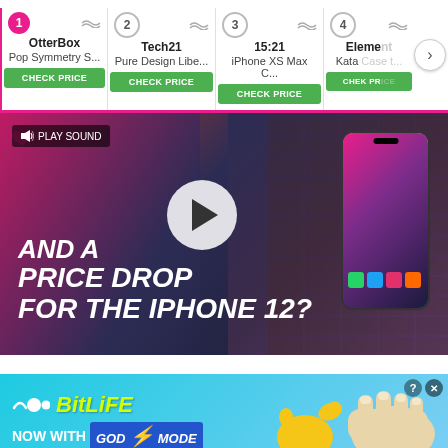[Figure (screenshot): Product comparison carousel showing ranked smartphone cases: 1-OtterBox Pop Symmetry S..., 2-Tech21 Pure Design Libe..., 3-15:21 iPhone XS Max C..., 4-Element Case Kata... with CHECK PRICE buttons and a next arrow]
[Figure (screenshot): Video thumbnail with play button showing text 'AND A PRICE DROP FOR THE IPHONE 12?' with a hand holding an iPhone on the right and PLAY SOUND overlay]
[Figure (screenshot): BitLife advertisement banner - NOW WITH GOD MODE - on light blue background with pointing hand and thumb emoji graphics, with close and help buttons]